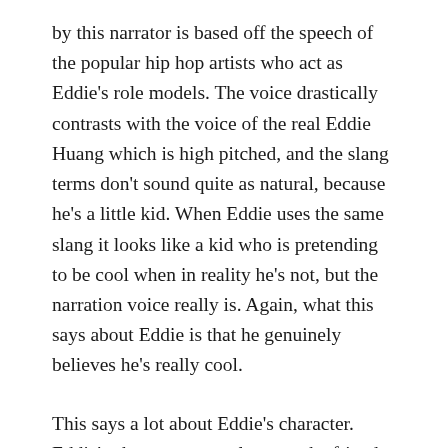by this narrator is based off the speech of the popular hip hop artists who act as Eddie's role models. The voice drastically contrasts with the voice of the real Eddie Huang which is high pitched, and the slang terms don't sound quite as natural, because he's a little kid. When Eddie uses the same slang it looks like a kid who is pretending to be cool when in reality he's not, but the narration voice really is. Again, what this says about Eddie is that he genuinely believes he's really cool.
This says a lot about Eddie's character. Eddie's character struggles to make friends. He is often rejected by the kids at school. In season 1 episode 5, the episode starts out by Eddie narrating how he doesn't get invited to any sleepovers. This statement alone is a bit odd,